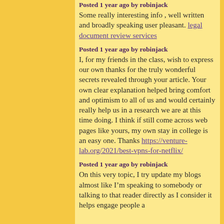Posted 1 year ago by robinjack
Some really interesting info , well written and broadly speaking user pleasant. legal document review services
Posted 1 year ago by robinjack
I, for my friends in the class, wish to express our own thanks for the truly wonderful secrets revealed through your article. Your own clear explanation helped bring comfort and optimism to all of us and would certainly really help us in a research we are at this time doing. I think if still come across web pages like yours, my own stay in college is an easy one. Thanks https://venture-lab.org/2021/best-vpns-for-netflix/
Posted 1 year ago by robinjack
On this very topic, I try update my blogs almost like I’m speaking to somebody or talking to that reader directly as I consider it helps engage people a